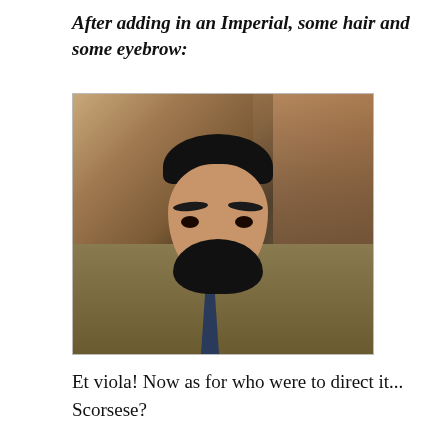After adding in an Imperial, some hair and some eyebrow:
[Figure (photo): A man with dark curly hair and a large black painted-on mustache (Imperial style), wearing a brown jacket and dark tie, leaning forward in an outdoor setting with people in the background.]
Et viola! Now as for who were to direct it... Scorsese?